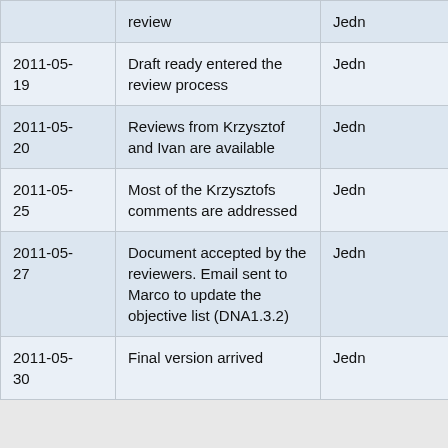| Date | Description | Who |
| --- | --- | --- |
|  | review | Jedn |
| 2011-05-19 | Draft ready entered the review process | Jedn |
| 2011-05-20 | Reviews from Krzysztof and Ivan are available | Jedn |
| 2011-05-25 | Most of the Krzysztofs comments are addressed | Jedn |
| 2011-05-27 | Document accepted by the reviewers. Email sent to Marco to update the objective list (DNA1.3.2) | Jedn |
| 2011-05-30 | Final version arrived | Jedn |